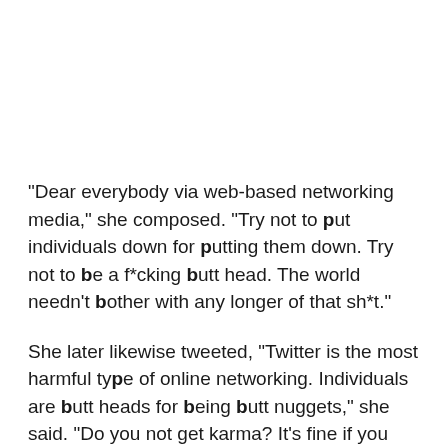"Dear everybody via web-based networking media," she composed. "Try not to put individuals down for putting them down. Try not to be a f*cking butt head. The world needn't bother with any longer of that sh*t."
She later likewise tweeted, "Twitter is the most harmful type of online networking. Individuals are butt heads for being butt nuggets," she said. "Do you not get karma? It's fine if you don't; you'll comprehend when it chomps your hopeless ass."